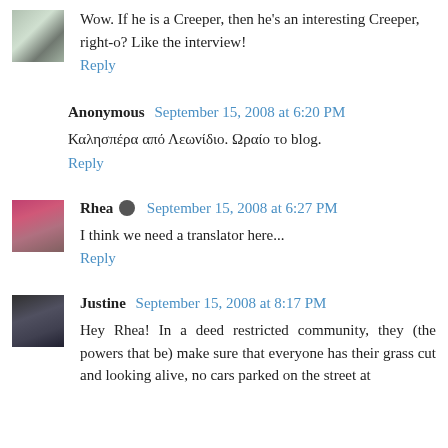Wow. If he is a Creeper, then he's an interesting Creeper, right-o? Like the interview!
Reply
Anonymous September 15, 2008 at 6:20 PM
Καλησπέρα από Λεωνίδιο. Ωραίο το blog.
Reply
Rhea September 15, 2008 at 6:27 PM
I think we need a translator here...
Reply
Justine September 15, 2008 at 8:17 PM
Hey Rhea! In a deed restricted community, they (the powers that be) make sure that everyone has their grass cut and looking alive, no cars parked on the street at